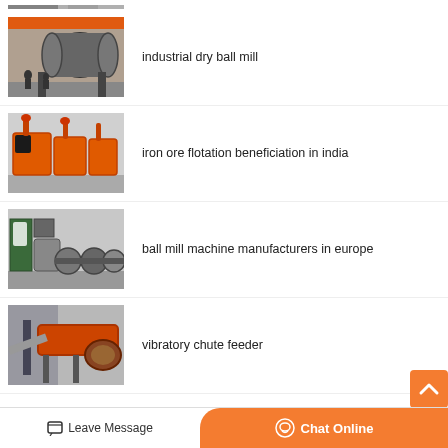[Figure (photo): Partial image of large industrial machinery at top, cut off]
[Figure (photo): Industrial dry ball mill - large cylindrical rotating drum in factory]
industrial dry ball mill
[Figure (photo): Iron ore flotation beneficiation equipment - orange colored flotation machines]
iron ore flotation beneficiation in india
[Figure (photo): Ball mill machine in a manufacturing facility]
ball mill machine manufacturers in europe
[Figure (photo): Vibratory chute feeder industrial equipment]
vibratory chute feeder
Leave Message
Chat Online